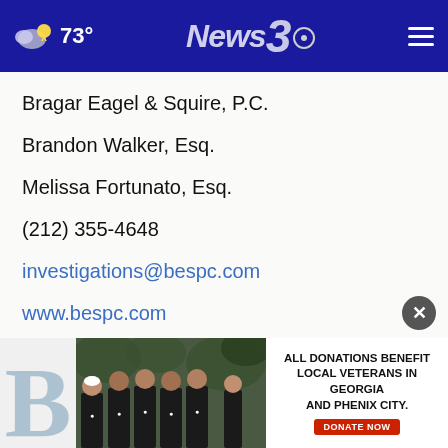73° News3
Bragar Eagel & Squire, P.C.
Brandon Walker, Esq.
Melissa Fortunato, Esq.
(212) 355-4648
investigations@bespc.com
www.bespc.com
[Figure (photo): Advertisement banner showing group of people in matching shirts with text: ALL DONATIONS BENEFIT LOCAL VETERANS IN GEORGIA AND PHENIX CITY. DONATE NOW]